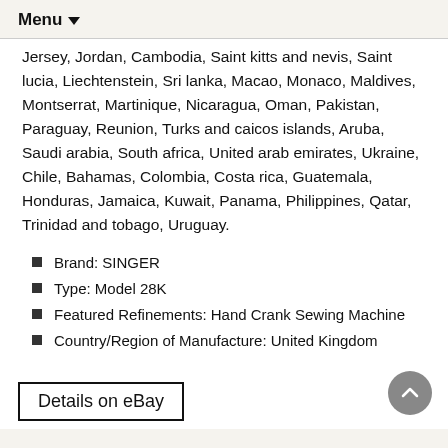Menu
Jersey, Jordan, Cambodia, Saint kitts and nevis, Saint lucia, Liechtenstein, Sri lanka, Macao, Monaco, Maldives, Montserrat, Martinique, Nicaragua, Oman, Pakistan, Paraguay, Reunion, Turks and caicos islands, Aruba, Saudi arabia, South africa, United arab emirates, Ukraine, Chile, Bahamas, Colombia, Costa rica, Guatemala, Honduras, Jamaica, Kuwait, Panama, Philippines, Qatar, Trinidad and tobago, Uruguay.
Brand: SINGER
Type: Model 28K
Featured Refinements: Hand Crank Sewing Machine
Country/Region of Manufacture: United Kingdom
Modified Item: No
Details on eBay